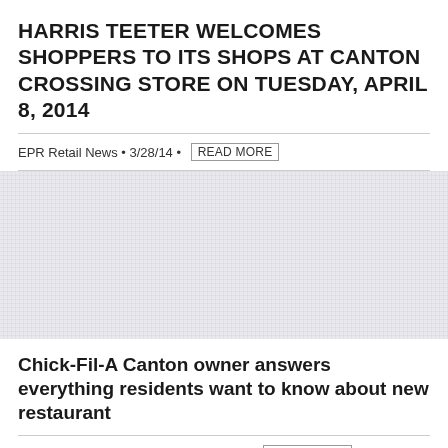HARRIS TEETER WELCOMES SHOPPERS TO ITS SHOPS AT CANTON CROSSING STORE ON TUESDAY, APRIL 8, 2014
EPR Retail News • 3/28/14 • READ MORE
[Figure (other): Advertisement placeholder with dotted/grid pattern background]
Chick-Fil-A Canton owner answers everything residents want to know about new restaurant
Baltimore Business Journal • 3/26/14 • READ MORE